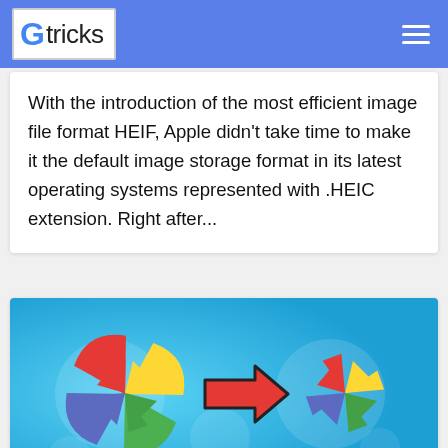G tricks
With the introduction of the most efficient image file format HEIF, Apple didn't take time to make it the default image storage format in its latest operating systems represented with .HEIC extension. Right after...
[Figure (illustration): Two Google Photos pinwheel logos with a red arrow between them on a blue background, illustrating transferring Google Photos]
How To Transfer Google